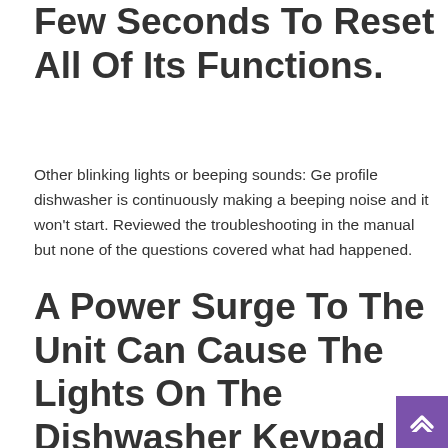Few Seconds To Reset All Of Its Functions.
Other blinking lights or beeping sounds: Ge profile dishwasher is continuously making a beeping noise and it won't start. Reviewed the troubleshooting in the manual but none of the questions covered what had happened.
A Power Surge To The Unit Can Cause The Lights On The Dishwasher Keypad To Blink Or Create A